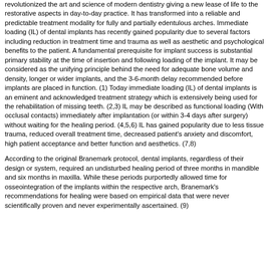revolutionized the art and science of modern dentistry giving a new lease of life to the restorative aspects in day-to-day practice. It has transformed into a reliable and predictable treatment modality for fully and partially edentulous arches. Immediate loading (IL) of dental implants has recently gained popularity due to several factors including reduction in treatment time and trauma as well as aesthetic and psychological benefits to the patient. A fundamental prerequisite for implant success is substantial primary stability at the time of insertion and following loading of the implant. It may be considered as the unifying principle behind the need for adequate bone volume and density, longer or wider implants, and the 3-6-month delay recommended before implants are placed in function. (1) Today immediate loading (IL) of dental implants is an eminent and acknowledged treatment strategy which is extensively being used for the rehabilitation of missing teeth. (2,3) IL may be described as functional loading (With occlusal contacts) immediately after implantation (or within 3-4 days after surgery) without waiting for the healing period. (4,5,6) IL has gained popularity due to less tissue trauma, reduced overall treatment time, decreased patient's anxiety and discomfort, high patient acceptance and better function and aesthetics. (7,8)
According to the original Branemark protocol, dental implants, regardless of their design or system, required an undisturbed healing period of three months in mandible and six months in maxilla. While these periods purportedly allowed time for osseointegration of the implants within the respective arch, Branemark's recommendations for healing were based on empirical data that were never scientifically proven and never experimentally ascertained. (9)